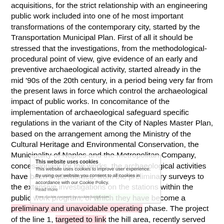acquisitions, for the strict relationship with an engineering public work included into one of he most important transformations of the contemporary city, started by the Transportation Municipal Plan. First of all it should be stressed that the investigations, from the methodological- procedural point of view, give evidence of an early and preventive archaeological activity, started already in the mid '90s of the 20th century, in a period being very far from the present laws in force which control the archaeological impact of public works. In concomitance of the implementation of archaeological safeguard specific regulations in the variant of the City of Naples Master Plan, based on the arrangement among the Ministry of the Cultural Heritage and Environmental Conservation, the Municipality of Naples and the Metropolitan Company, concessionary for the works, the archaeological activities have been implemented, from the preliminary surveys to the extensive investigations on the stations within the public work program, of which they have become a preliminary and unavoidable operating phase. The project of the line 1, targeted to link the hill area, recently served by an effective rail way system, to the oldest core of Naples settlement, avoids the Neapolis urban area, entailing a route immediately outside it, placed in the Rettifilo district restored by the Società del Risanamento (Restoration Company) in the late nineteenth-century. The surface presence of stratum water